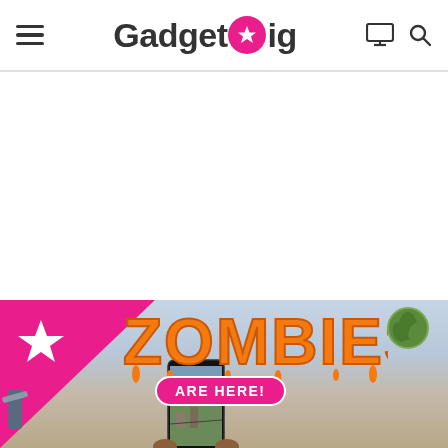GadgetGig — website header with hamburger menu, logo, monitor icon, and search icon
[Figure (screenshot): GadgetGig website page showing header navigation with hamburger menu on left, GadgetGig logo in center (with pink star G icon), monitor and search icons on right. Below is white advertisement space. Bottom portion shows a gaming article thumbnail with 'ZOMBIES ARE HERE!' text over an orange dripping lettering logo, pink diagonal banner with GadgetGig logo, and a smartphone being held displaying a game scene. A green plant is visible in the top right of the image section.]